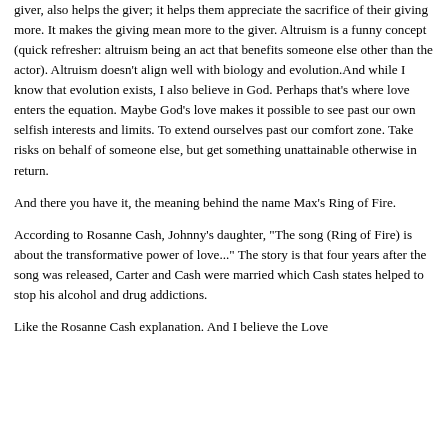giver, also helps the giver; it helps them appreciate the sacrifice of their giving more. It makes the giving mean more to the giver. Altruism is a funny concept (quick refresher: altruism being an act that benefits someone else other than the actor). Altruism doesn't align well with biology and evolution.And while I know that evolution exists, I also believe in God. Perhaps that's where love enters the equation. Maybe God's love makes it possible to see past our own selfish interests and limits. To extend ourselves past our comfort zone. Take risks on behalf of someone else, but get something unattainable otherwise in return.
And there you have it, the meaning behind the name Max's Ring of Fire.
According to Rosanne Cash, Johnny's daughter, "The song (Ring of Fire) is about the transformative power of love..." The story is that four years after the song was released, Carter and Cash were married which Cash states helped to stop his alcohol and drug addictions.
Like the Rosanne Cash explanation. And I believe the Love...